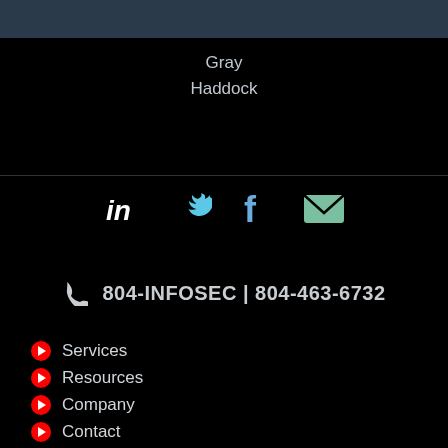[Figure (other): Dark blue/gray top navigation bar]
Gray
Haddock
[Figure (other): Social media icons: LinkedIn, Twitter, Facebook, Email]
804-INFOSEC | 804-463-6732
Services
Resources
Company
Contact
Service Area
Site Map
Privacy Policy
Terms of Use